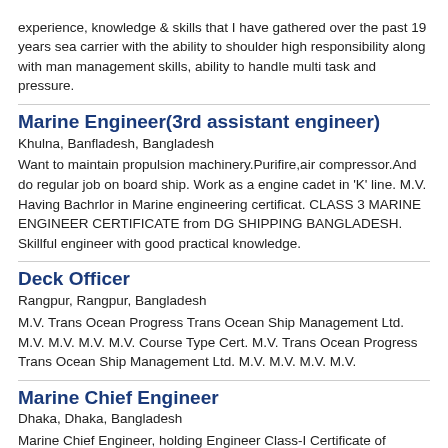experience, knowledge & skills that I have gathered over the past 19 years sea carrier with the ability to shoulder high responsibility along with man management skills, ability to handle multi task and pressure.
Marine Engineer(3rd assistant engineer)
Khulna, Banfladesh, Bangladesh
Want to maintain propulsion machinery.Purifire,air compressor.And do regular job on board ship. Work as a engine cadet in 'K' line. M.V. Having Bachrlor in Marine engineering certificat. CLASS 3 MARINE ENGINEER CERTIFICATE from DG SHIPPING BANGLADESH. Skillful engineer with good practical knowledge.
Deck Officer
Rangpur, Rangpur, Bangladesh
M.V. Trans Ocean Progress Trans Ocean Ship Management Ltd. M.V. M.V. M.V. M.V. Course Type Cert. M.V. Trans Ocean Progress Trans Ocean Ship Management Ltd. M.V. M.V. M.V. M.V.
Marine Chief Engineer
Dhaka, Dhaka, Bangladesh
Marine Chief Engineer, holding Engineer Class-I Certificate of Competency from AMSA, Australia with over eighteen years working